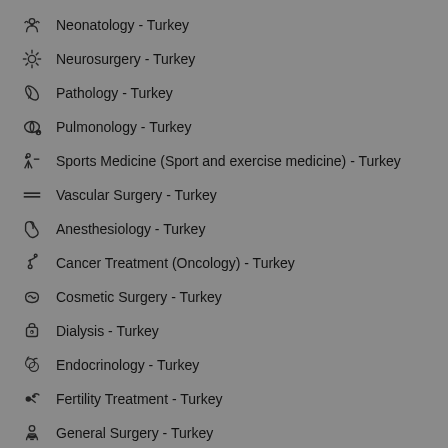Neonatology - Turkey
Neurosurgery - Turkey
Pathology - Turkey
Pulmonology - Turkey
Sports Medicine (Sport and exercise medicine) - Turkey
Vascular Surgery - Turkey
Anesthesiology - Turkey
Cancer Treatment (Oncology) - Turkey
Cosmetic Surgery - Turkey
Dialysis - Turkey
Endocrinology - Turkey
Fertility Treatment - Turkey
General Surgery - Turkey
Hyperbaric Therapy (HBOT) - Turkey
Internal Medicine - Turkey
Nephrology - Turkey